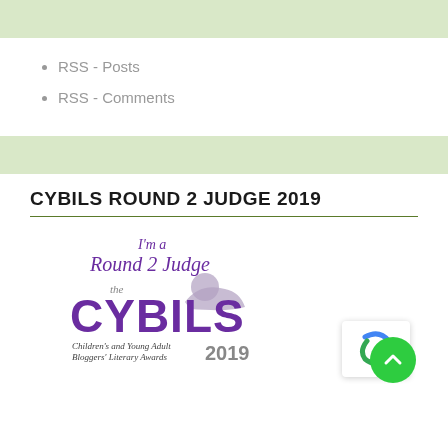RSS - Posts
RSS - Comments
CYBILS ROUND 2 JUDGE 2019
[Figure (logo): Cybils Round 2 Judge 2019 badge. Shows cursive text 'I'm a Round 2 Judge' in purple, with a child reading figure, 'the CYBILS' in large purple letters, and 'Children's and Young Adult Bloggers' Literary Awards 2019' below.]